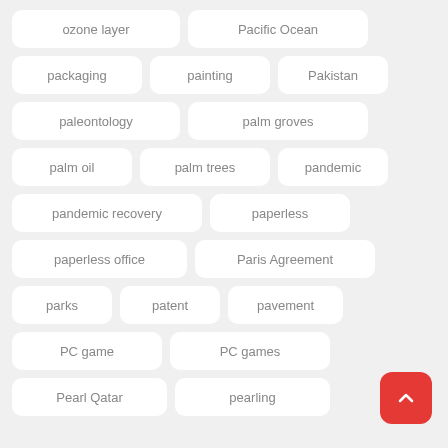ozone layer
Pacific Ocean
packaging
painting
Pakistan
paleontology
palm groves
palm oil
palm trees
pandemic
pandemic recovery
paperless
paperless office
Paris Agreement
parks
patent
pavement
PC game
PC games
Pearl Qatar
pearling